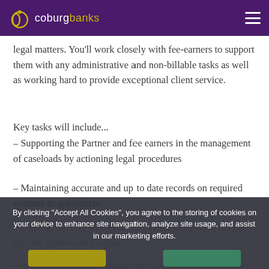coburg banks
legal matters. You'll work closely with fee-earners to support them with any administrative and non-billable tasks as well as working hard to provide exceptional client service.
Key tasks will include...
– Supporting the Partner and fee earners in the management of caseloads by actioning legal procedures
– Maintaining accurate and up to date records on required systems as appropriate
– Liaising directly with clients to manage expectations and provide updates on progress
– using the firm's case management, and other IT systems.
By clicking "Accept All Cookies", you agree to the storing of cookies on your device to enhance site navigation, analyze site usage, and assist in our marketing efforts.